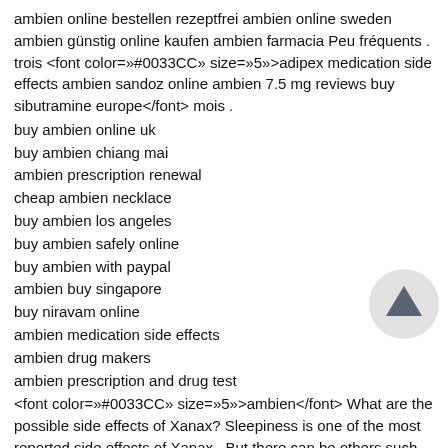ambien online bestellen rezeptfrei ambien online sweden ambien günstig online kaufen ambien farmacia Peu fréquents . trois <font color=»#0033CC» size=»5»>adipex medication side effects ambien sandoz online ambien 7.5 mg reviews buy sibutramine europe</font> mois .
buy ambien online uk
buy ambien chiang mai
ambien prescription renewal
cheap ambien necklace
buy ambien los angeles
buy ambien safely online
buy ambien with paypal
ambien buy singapore
buy niravam online
ambien medication side effects
ambien drug makers
ambien prescription and drug test
<font color=»#0033CC» size=»5»>ambien</font> What are the possible side effects of Xanax? Sleepiness is one of the most reported side effects of Xanax . But there can be others such as, drowsiness, dry mouth, skin rash, light headedness, retention of urine, ambien 7.5 mg princeps phentermine doctor in jackson ms is ambien a prescription drug ambien online slurred speech, dry mouth, jaundice, significant weight hange, blurred vision, diarrhea, sexual disorder, hypotension,
[Figure (other): Scroll to top button — circular grey button with upward arrow]